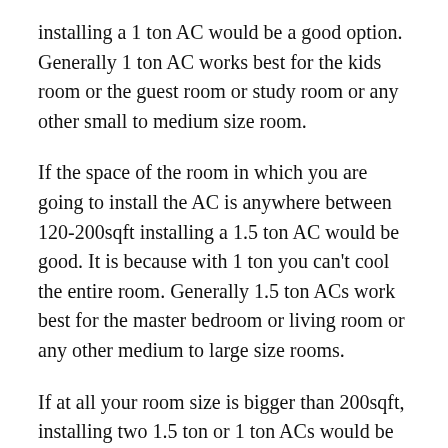installing a 1 ton AC would be a good option. Generally 1 ton AC works best for the kids room or the guest room or study room or any other small to medium size room.
If the space of the room in which you are going to install the AC is anywhere between 120-200sqft installing a 1.5 ton AC would be good. It is because with 1 ton you can’t cool the entire room. Generally 1.5 ton ACs work best for the master bedroom or living room or any other medium to large size rooms.
If at all your room size is bigger than 200sqft, installing two 1.5 ton or 1 ton ACs would be recommended.